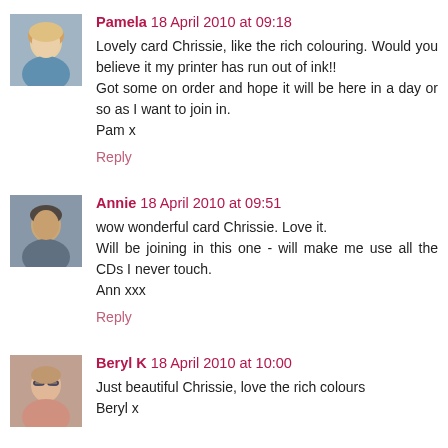[Figure (photo): Avatar photo of Pamela, a woman with blonde hair]
Pamela 18 April 2010 at 09:18
Lovely card Chrissie, like the rich colouring. Would you believe it my printer has run out of ink!!
Got some on order and hope it will be here in a day or so as I want to join in.
Pam x
Reply
[Figure (photo): Avatar photo of Annie, a woman]
Annie 18 April 2010 at 09:51
wow wonderful card Chrissie. Love it.
Will be joining in this one - will make me use all the CDs I never touch.
Ann xxx
Reply
[Figure (photo): Avatar photo of Beryl K, a woman with glasses]
Beryl K 18 April 2010 at 10:00
Just beautiful Chrissie, love the rich colours
Beryl x